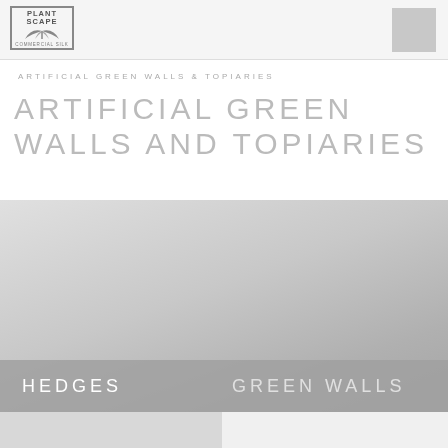[Figure (logo): PlantScape Commercial Silk logo with plant/leaf graphic and bordered box]
[Figure (other): Gray navigation square in top right corner of header]
ARTIFICIAL GREEN WALLS & TOPIARIES
ARTIFICIAL GREEN WALLS AND TOPIARIES
[Figure (photo): Large gray-toned image area showing artificial green wall or topiary products, with overlay bar showing HEDGES and GREEN WALLS labels, and navigation arrows on the right side]
HEDGES
GREEN WALLS